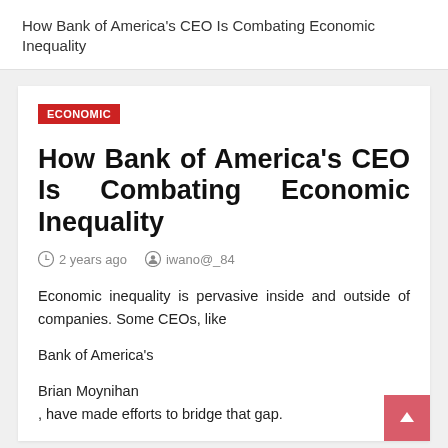How Bank of America's CEO Is Combating Economic Inequality
ECONOMIC
How Bank of America's CEO Is Combating Economic Inequality
2 years ago   iwano@_84
Economic inequality is pervasive inside and outside of companies. Some CEOs, like
Bank of America's
Brian Moynihan
, have made efforts to bridge that gap.